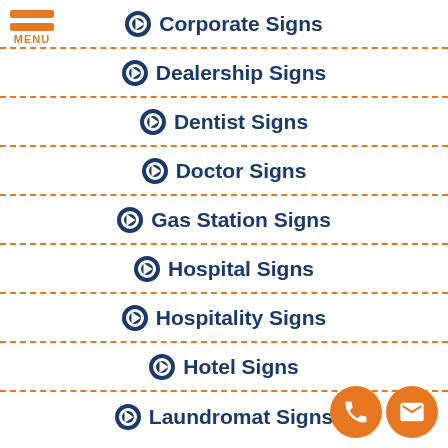[Figure (other): Orange hamburger menu icon with three horizontal bars and MENU label]
Corporate Signs
Dealership Signs
Dentist Signs
Doctor Signs
Gas Station Signs
Hospital Signs
Hospitality Signs
Hotel Signs
Laundromat Signs
[Figure (other): Two orange circular contact icons: phone and email]